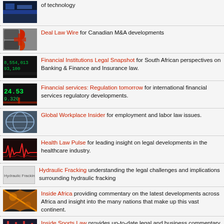of technology
Deal Law Wire for Canadian M&A developments
Financial Institutions Legal Snapshot for South African perspectives on Banking & Finance and Insurance law.
Financial services: Regulation tomorrow for international financial services regulatory developments.
Global Workplace Insider for employment and labor law issues.
Health Law Pulse for leading insight on legal developments in the healthcare industry.
Hydraulic Fracking understanding the legal challenges and implications surrounding hydraulic fracking
Inside Africa providing commentary on the latest developments across Africa and insight into the many nations that make up this vast continent.
Inside Sports Law provides up-to-date legal and business commentary on key sporting topics from across the globe.
Les Actifs créatifs for the latest developments in intellectual property (blog in French).
Patent Challenges for analysis of USPTO post-issuance proceedings
Pharma in Brief legal and regulatory developments affecting the